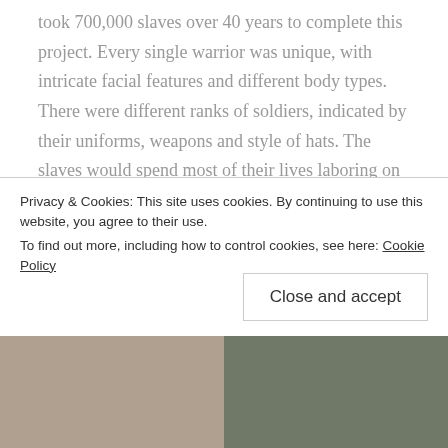took 700,000 slaves over 40 years to complete this project. Every single warrior was unique, with intricate facial features and different body types. There were different ranks of soldiers, indicated by their uniforms, weapons and style of hats. The slaves would spend most of their lives laboring on the creation of the warriors, only to be killed in the end so that Qin's secret of his terracotta army would never get out. It was tragic and inspiring at the same time and we felt moved to be in the presence of such an incredible ancient phenomenon.
Privacy & Cookies: This site uses cookies. By continuing to use this website, you agree to their use.
To find out more, including how to control cookies, see here: Cookie Policy
Close and accept
[Figure (photo): Two photos side by side at the bottom of the page showing terracotta warriors]